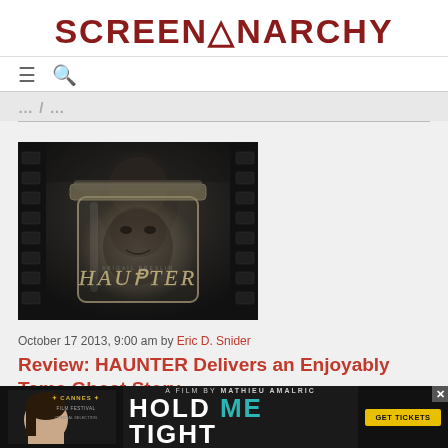SCREEN ANARCHY
[Figure (logo): ScreenAnarchy website logo in dark red/maroon bold uppercase text]
[Figure (photo): Movie poster for HAUNTER - dark moody image of a mason jar with a face reflected, title written in scratchy text]
October 17 2013, 9:00 am by Eric D. Snider
Review: HAUNTER Delivers an Enjoyably Tame Ghost Story
Time is ... mainly in 1985 ... or a and the ...
[Figure (screenshot): Advertisement banner for 'Hold Me Tight' film - Cannes Film Festival Official Selection, A Film By Mathieu Amalric, with GET TICKETS button]